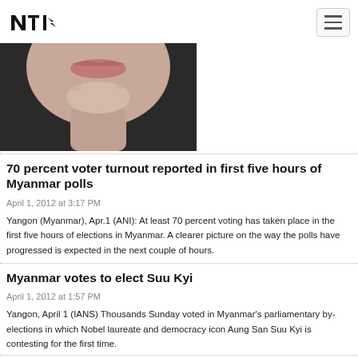NTI logo and navigation
[Figure (photo): Close-up photo of a person's lower face showing lips and chin against a dark background]
70 percent voter turnout reported in first five hours of Myanmar polls
April 1, 2012 at 3:17 PM
Yangon (Myanmar), Apr.1 (ANI): At least 70 percent voting has taken place in the first five hours of elections in Myanmar. A clearer picture on the way the polls have progressed is expected in the next couple of hours.
Myanmar votes to elect Suu Kyi
April 1, 2012 at 1:57 PM
Yangon, April 1 (IANS) Thousands Sunday voted in Myanmar's parliamentary by-elections in which Nobel laureate and democracy icon Aung San Suu Kyi is contesting for the first time.